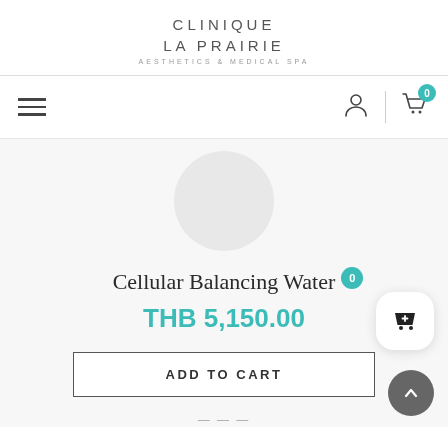[Figure (logo): Clinique La Prairie Aesthetics & Medical Spa logo with text]
[Figure (screenshot): Navigation bar with hamburger menu, user icon, and cart icon with 0 badge]
[Figure (photo): Product image placeholder circle for Cellular Balancing Water]
Cellular Balancing Water
THB 5,150.00
ADD TO CART